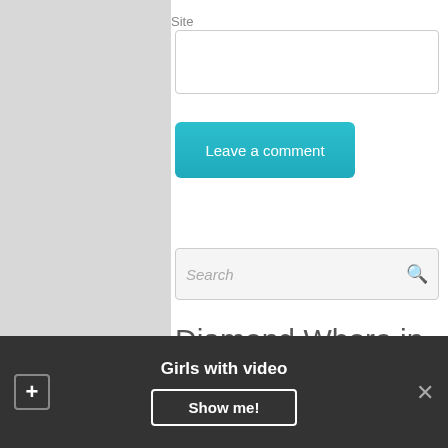Site
[Figure (screenshot): Site text input field (empty white input box)]
[Figure (screenshot): Leave a comment button (teal/cyan colored button)]
[Figure (screenshot): Search input field with search icon on right, placeholder text 'Search']
Diamond Whore in Greenland
Girls with video
Show me!